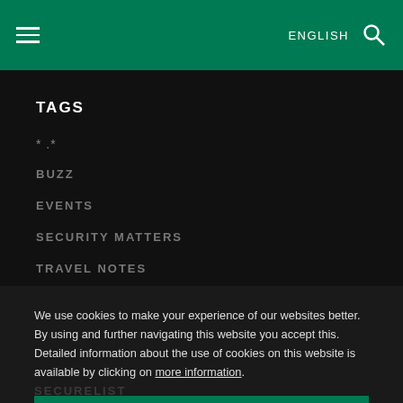≡  ENGLISH 🔍
TAGS
* .*
BUZZ
EVENTS
SECURITY MATTERS
TRAVEL NOTES
We use cookies to make your experience of our websites better. By using and further navigating this website you accept this. Detailed information about the use of cookies on this website is available by clicking on more information.
ACCEPT AND CLOSE